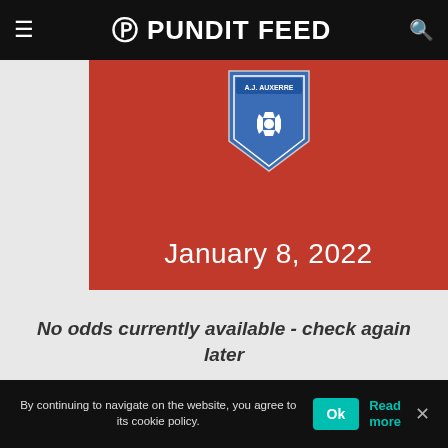Pundit Feed
[Figure (illustration): AJ Auxerre football club crest/logo on red banner background with date January 8, 2022]
No odds currently available - check again later
| Grenoble vs Auxerre |
| --- |
| Head to Head |
By continuing to navigate on the website, you agree to its cookie policy. Ok Read more ✕